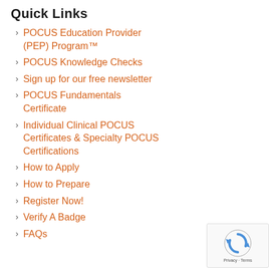Quick Links
POCUS Education Provider (PEP) Program™
POCUS Knowledge Checks
Sign up for our free newsletter
POCUS Fundamentals Certificate
Individual Clinical POCUS Certificates & Specialty POCUS Certifications
How to Apply
How to Prepare
Register Now!
Verify A Badge
FAQs